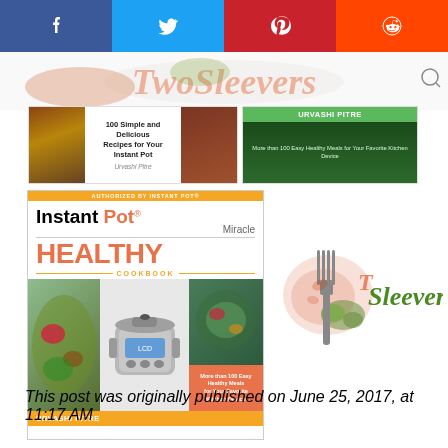[Figure (screenshot): Social sharing bar with Facebook (blue), Twitter (light blue), Pinterest (red), Reddit (orange-red) buttons]
[Figure (photo): Header area showing partial website logo/banner with food imagery]
[Figure (photo): Two cookbook covers in top row: '100 Simple and Delicious Recipes for Your Instant Pot' by Urvashi Pitre, and another Urvashi Pitre cookbook with green banner]
[Figure (photo): Main book cover: Instant Pot Miracle Healthy Cookbook by Urvashi Pitre, orange and white design with instant pot appliance image]
[Figure (logo): Two Sleevers logo — stylized fork and text 'TwoSleevers' in green italic script with red spice/herb imagery]
This post was originally published on June 25, 2017, at 11:17 AM